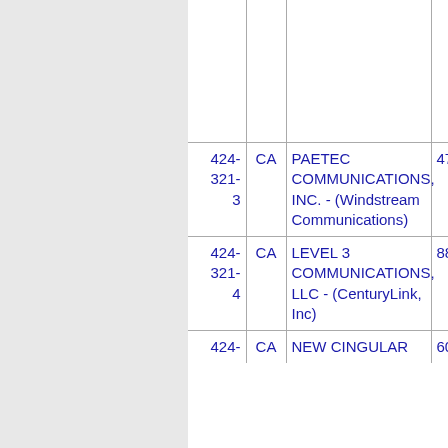| Number | State | Name | Code | (truncated) |
| --- | --- | --- | --- | --- |
|  |  |  |  |  |
| 424-321-3 | CA | PAETEC COMMUNICATIONS, INC. - (Windstream Communications) | 4733 | ... |
| 424-321-4 | CA | LEVEL 3 COMMUNICATIONS, LLC - (CenturyLink, Inc) | 8826 | ... |
| 424- | CA | NEW CINGULAR | 6010 | ... |